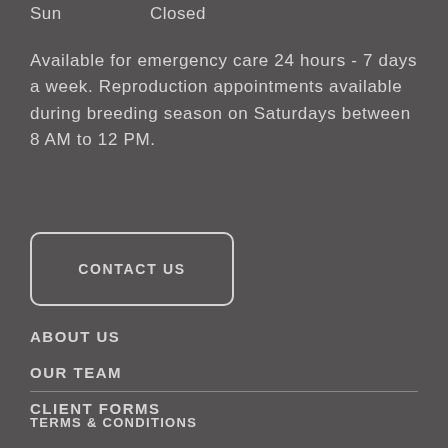Sun   Closed
Available for emergency care 24 hours - 7 days a week. Reproduction appointments available during breeding season on Saturdays between 8 AM to 12 PM.
CONTACT US
ABOUT US
OUR TEAM
CLIENT FORMS
TERMS & CONDITIONS